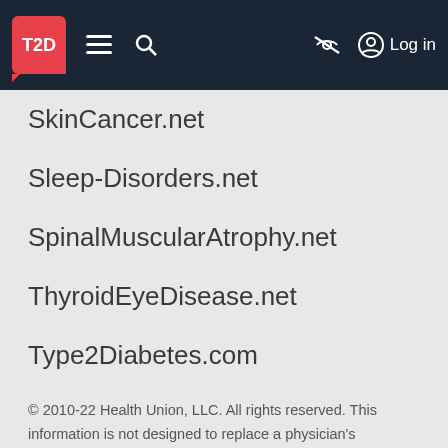T2D | Menu | Search | (eye-slash icon) | Log in
SkinCancer.net
Sleep-Disorders.net
SpinalMuscularAtrophy.net
ThyroidEyeDisease.net
Type2Diabetes.com
© 2010-22 Health Union, LLC. All rights reserved. This information is not designed to replace a physician's independent judgment about the appropriateness or risks of a procedure for a given patient. Always consult your doctor about your medical conditions. Type2Diabetes.com does not provide medical advice, diagnosis or treatment. Use of the site is conditional upon your acceptance of our terms of use.
This site is protected by reCAPTCHA and the Google Privacy Policy and Terms of Service apply.